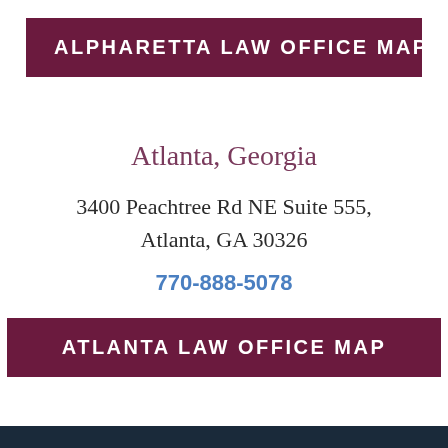ALPHARETTA LAW OFFICE MAP
Atlanta, Georgia
3400 Peachtree Rd NE Suite 555, Atlanta, GA 30326
770-888-5078
ATLANTA LAW OFFICE MAP